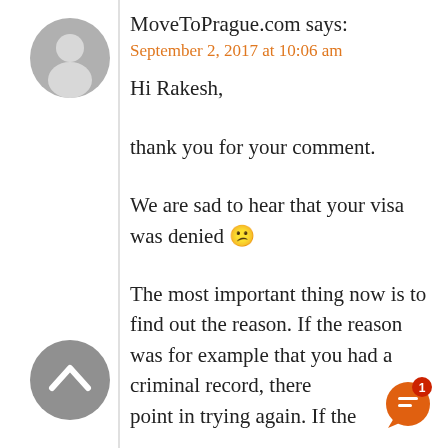[Figure (illustration): Gray circular default user avatar icon]
MoveToPrague.com says:
September 2, 2017 at 10:06 am
Hi Rakesh,

thank you for your comment.

We are sad to hear that your visa was denied 😕

The most important thing now is to find out the reason. If the reason was for example that you had a criminal record, there point in trying again. If the
[Figure (illustration): Gray circular scroll-to-top button with upward chevron arrow]
[Figure (illustration): Orange notification chat bubble icon with badge showing number 1]